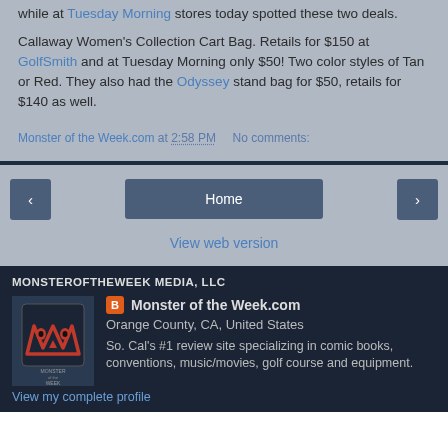while at Tuesday Morning stores today spotted these two deals.
Callaway Women's Collection Cart Bag. Retails for $150 at GolfSmith and at Tuesday Morning only $50! Two color styles of Tan or Red. They also had the Odyssey stand bag for $50, retails for $140 as well.
Monster of the Week.com at 2:58 PM   No comments:
Home
View web version
MONSTEROFTHEWEEK MEDIA, LLC
Monster of the Week.com
Orange County, CA, United States
So. Cal's #1 review site specializing in comic books, conventions, music/movies, golf course and equipment.
View my complete profile